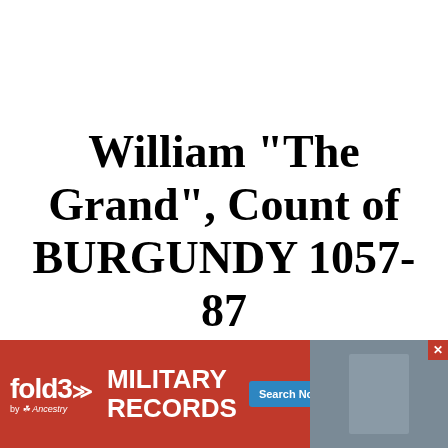William "The Grand", Count of BURGUNDY 1057-87
[Figure (other): Advertisement banner for fold3 by Ancestry - Military Records with Search Now button and soldier photo]